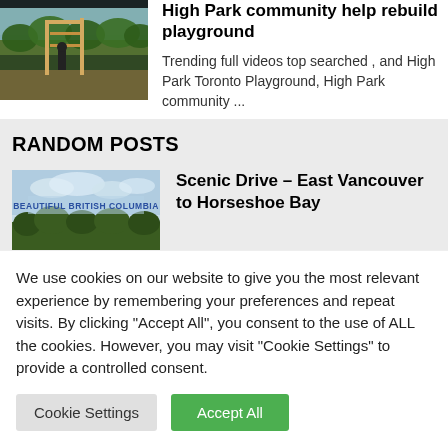[Figure (photo): Photo of a playground being rebuilt with wooden frame structure and people working]
High Park community help rebuild playground
Trending full videos top searched , and High Park Toronto Playground, High Park community ...
RANDOM POSTS
[Figure (photo): Beautiful British Columbia scenic thumbnail with blue sky, text overlay reading BEAUTIFUL BRITISH COLUMBIA, and tree silhouette at bottom]
Scenic Drive – East Vancouver to Horseshoe Bay
We use cookies on our website to give you the most relevant experience by remembering your preferences and repeat visits. By clicking "Accept All", you consent to the use of ALL the cookies. However, you may visit "Cookie Settings" to provide a controlled consent.